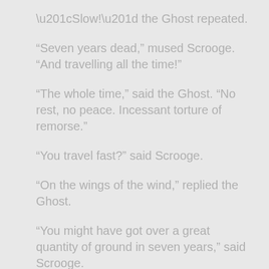“Slow!” the Ghost repeated.
“Seven years dead,” mused Scrooge. “And travelling all the time!”
“The whole time,” said the Ghost. “No rest, no peace. Incessant torture of remorse.”
“You travel fast?” said Scrooge.
“On the wings of the wind,” replied the Ghost.
“You might have got over a great quantity of ground in seven years,” said Scrooge.
The Ghost, on hearing this, set up another cry, and clanked its chain so hideously in the dead silence of the night, that the Ward